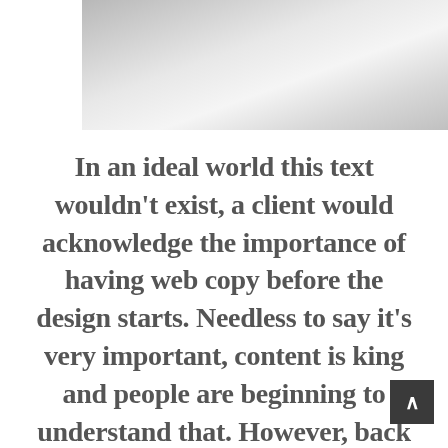[Figure (photo): Partial photograph showing fabric or textile with light grey tones, cropped at top of page]
In an ideal world this text wouldn't exist, a client would acknowledge the importance of having web copy before the design starts. Needless to say it's very important, content is king and people are beginning to understand that. However, back over in reality some project schedules and budgets don't allow for web copy to be written before the design phase, this is sad but true. We're here to help, we've written examples of we...